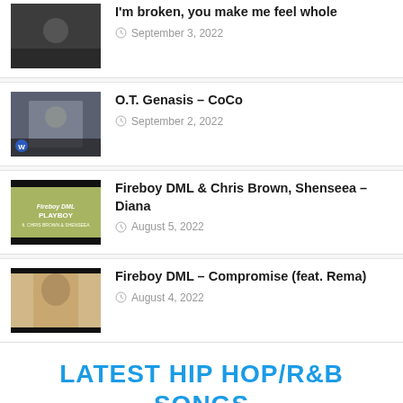[Figure (photo): Thumbnail image, dark toned photo]
I'm broken, you make me feel whole
September 3, 2022
[Figure (photo): Thumbnail image of person in white shirt, W logo badge]
O.T. Genasis – CoCo
September 2, 2022
[Figure (photo): Thumbnail image Fireboy DML Playboy album art]
Fireboy DML & Chris Brown, Shenseea – Diana
August 5, 2022
[Figure (photo): Thumbnail of person with dreadlocks]
Fireboy DML – Compromise (feat. Rema)
August 4, 2022
LATEST HIP HOP/R&B SONGS